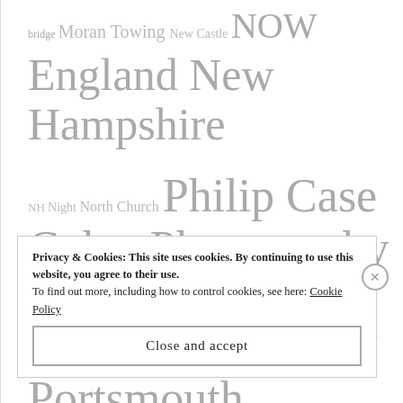bridge Moran Towing New Castle NOW England New Hampshire NH Night North Church Philip Case Cohen Photography photos Piscataqua River Piscataqua River Bridge Portsmouth Portsmouth's Working Waterfront Portsmouth's Arts Portsmouth Harbor Lighthouse Portsmouth Naval
Privacy & Cookies: This site uses cookies. By continuing to use this website, you agree to their use. To find out more, including how to control cookies, see here: Cookie Policy
Close and accept